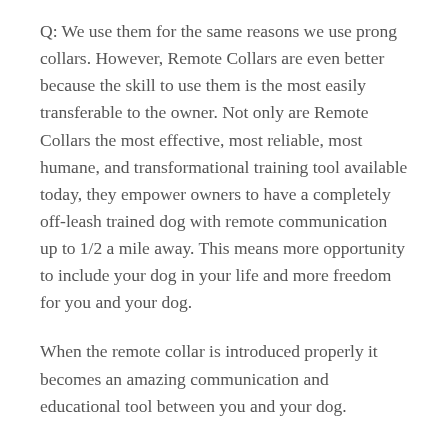Q: We use them for the same reasons we use prong collars. However, Remote Collars are even better because the skill to use them is the most easily transferable to the owner. Not only are Remote Collars the most effective, most reliable, most humane, and transformational training tool available today, they empower owners to have a completely off-leash trained dog with remote communication up to 1/2 a mile away. This means more opportunity to include your dog in your life and more freedom for you and your dog.
When the remote collar is introduced properly it becomes an amazing communication and educational tool between you and your dog.
The idea we have to get out of our head is that we are shocking or zapping the dog. It's NOT like a static shock from a door knob or touching an electric cattle fence. The